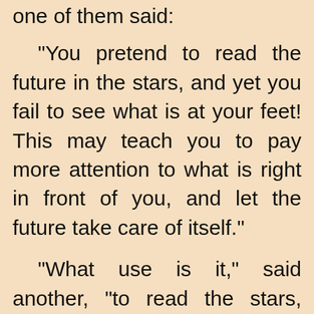one of them said:
"You pretend to read the future in the stars, and yet you fail to see what is at your feet! This may teach you to pay more attention to what is right in front of you, and let the future take care of itself."
"What use is it," said another, "to read the stars, when you can't see what's right here on the earth?"